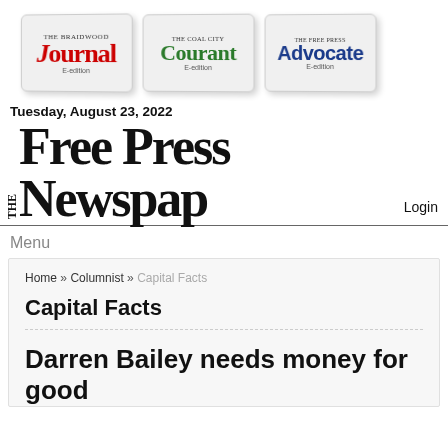[Figure (logo): Three newspaper logos: The Braidwood Journal E-edition, The Coal City Courant E-edition, The Free Press Advocate E-edition]
Tuesday, August 23, 2022
THE Free Press Newspap
Login
Menu
Home » Columnist » Capital Facts
Capital Facts
Darren Bailey needs money for good